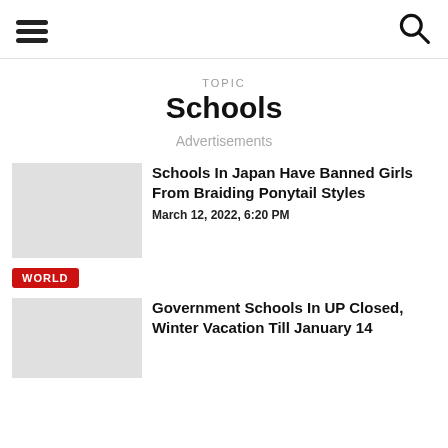[hamburger menu icon] [search icon]
TOPIC
Schools
Advertisements
Schools In Japan Have Banned Girls From Braiding Ponytail Styles
March 12, 2022, 6:20 PM
WORLD
Government Schools In UP Closed, Winter Vacation Till January 14